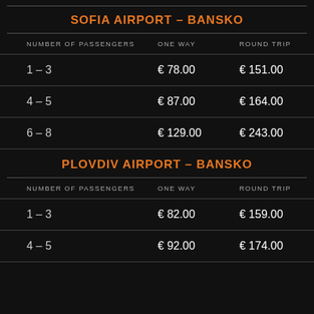SOFIA AIRPORT – BANSKO
| NUMBER OF PASSENGERS | ONE WAY | ROUND TRIP |
| --- | --- | --- |
| 1 – 3 | € 78.00 | € 151.00 |
| 4 – 5 | € 87.00 | € 164.00 |
| 6 – 8 | € 129.00 | € 243.00 |
PLOVDIV AIRPORT – BANSKO
| NUMBER OF PASSENGERS | ONE WAY | ROUND TRIP |
| --- | --- | --- |
| 1 – 3 | € 82.00 | € 159.00 |
| 4 – 5 | € 92.00 | € 174.00 |